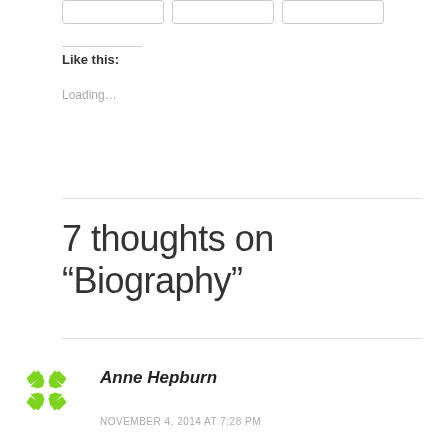[Figure (other): Three button/widget elements in a row at the top of the page]
Like this:
Loading...
7 thoughts on “Biography”
[Figure (logo): Green pinwheel/snowflake logo avatar for commenter Anne Hepburn]
Anne Hepburn
NOVEMBER 4, 2014 AT 7:28 PM